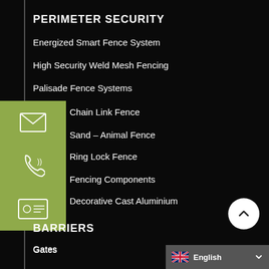PERIMETER SECURITY
Energized Smart Fence System
High Security Weld Mesh Fencing
Palisade Fence Systems
Chain Link Fence
Sand – Animal Fence
Ring Lock Fence
Fencing Components
Decorative Cast Aluminium
BARRIERS
Gates
Guard Rail
Instomat Lined Barriers
[Figure (illustration): Back-to-top circular button with upward chevron arrow]
English (language selector with UK flag icon and dropdown arrow)